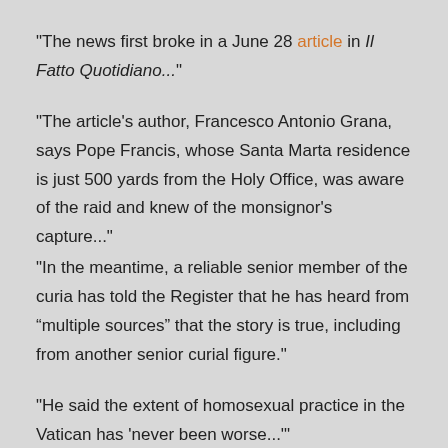"The news first broke in a June 28 article in Il Fatto Quotidiano..."
"The article’s author, Francesco Antonio Grana, says Pope Francis, whose Santa Marta residence is just 500 yards from the Holy Office, was aware of the raid and knew of the monsignor’s capture..."
"In the meantime, a reliable senior member of the curia has told the Register that he has heard from “multiple sources” that the story is true, including from another senior curial figure."
"He said the extent of homosexual practice in the Vatican has ‘never been worse...’"